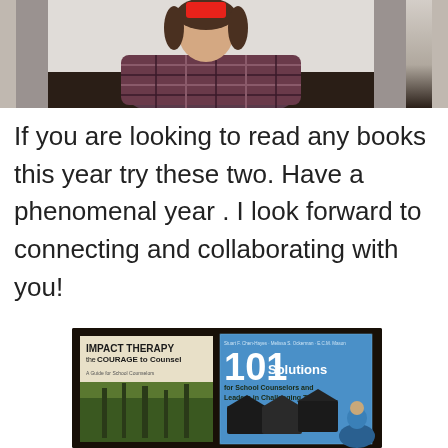[Figure (screenshot): Screenshot of a video call or recorded video showing a person in a plaid/flannel shirt sitting in front of a white wall. A red button/icon is visible at the top center of the video frame.]
If you are looking to read any books this year try these two. Have a phenomenal year . I look forward to connecting and collaborating with you!
[Figure (photo): Photo of two books on a dark surface: 'IMPACT THERAPY the COURAGE to Counsel' (left, with forest background) and '101 Solutions for School Counselors and Leaders in Challenging Times' (right, blue cover with graduation cap imagery).]